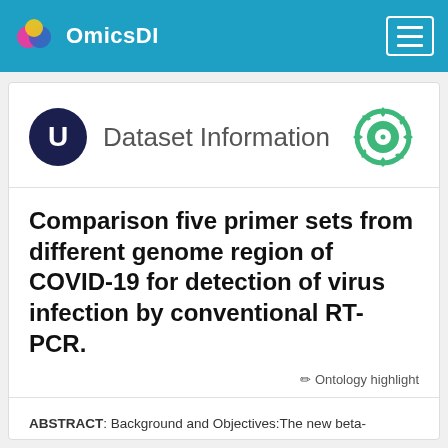OmicsDI
Dataset Information
Comparison five primer sets from different genome region of COVID-19 for detection of virus infection by conventional RT-PCR.
Ontology highlight
ABSTRACT: Background and Objectives:The new beta-coronavirus, which caused Severe Acute Respiratory